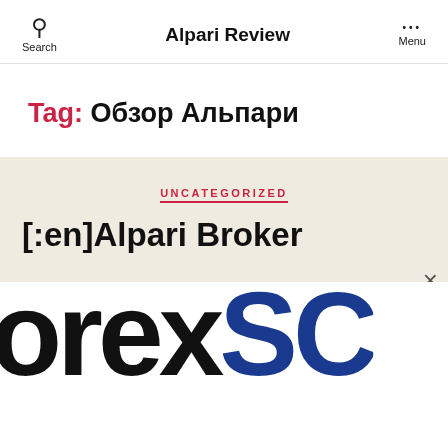Alpari Review
Tag: Обзор Альпари
UNCATEGORIZED
[:en]Alpari Broker
[Figure (logo): Partial logo showing 'orexSC' text in black and blue large font, cropped]